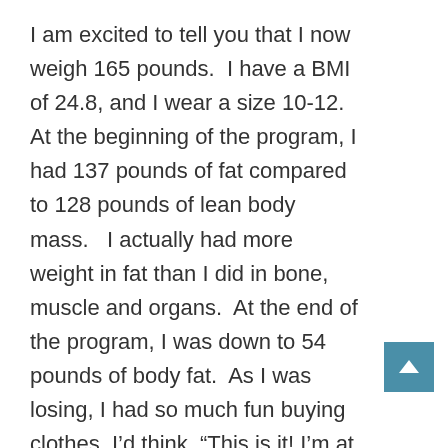I am excited to tell you that I now weigh 165 pounds.  I have a BMI of 24.8, and I wear a size 10-12.  At the beginning of the program, I had 137 pounds of fat compared to 128 pounds of lean body mass.   I actually had more weight in fat than I did in bone, muscle and organs.  At the end of the program, I was down to 54 pounds of body fat.  As I was losing, I had so much fun buying clothes. I'd think, “This is it! I'm at my goal!” and then I'd lose